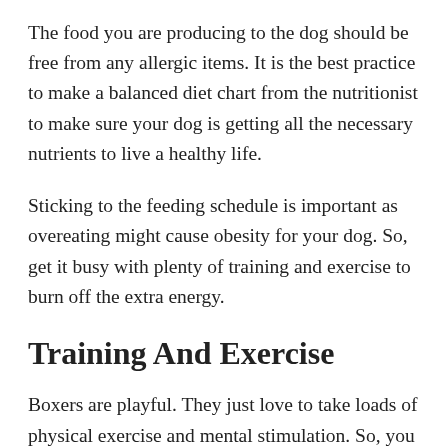The food you are producing to the dog should be free from any allergic items. It is the best practice to make a balanced diet chart from the nutritionist to make sure your dog is getting all the necessary nutrients to live a healthy life.
Sticking to the feeding schedule is important as overeating might cause obesity for your dog. So, get it busy with plenty of training and exercise to burn off the extra energy.
Training And Exercise
Boxers are playful. They just love to take loads of physical exercise and mental stimulation. So, you should be the one